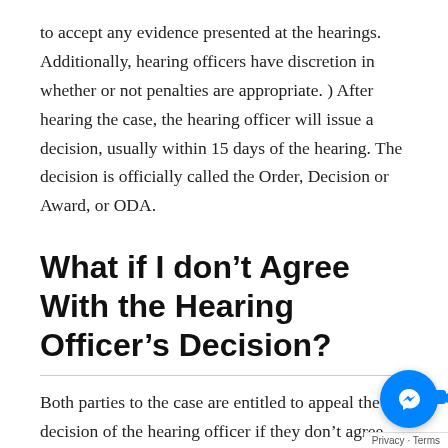to accept any evidence presented at the hearings. Additionally, hearing officers have discretion in whether or not penalties are appropriate. ) After hearing the case, the hearing officer will issue a decision, usually within 15 days of the hearing. The decision is officially called the Order, Decision or Award, or ODA.
What if I don’t Agree With the Hearing Officer’s Decision?
Both parties to the case are entitled to appeal the decision of the hearing officer if they don’t agree with it. If you want to appeal you should get a Notice of Appeal from the DLSE office. Your appeal must be filed in the appropriate and in a timely manner. The amount of time you have